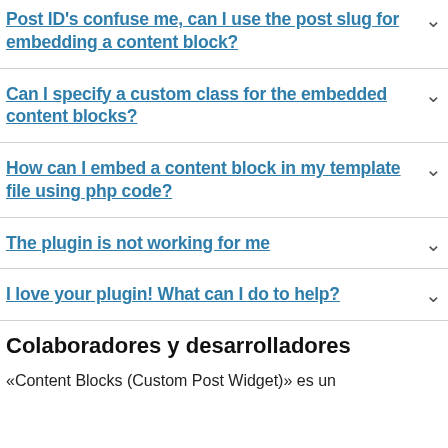Post ID's confuse me, can I use the post slug for embedding a content block?
Can I specify a custom class for the embedded content blocks?
How can I embed a content block in my template file using php code?
The plugin is not working for me
I love your plugin! What can I do to help?
Colaboradores y desarrolladores
«Content Blocks (Custom Post Widget)» es un